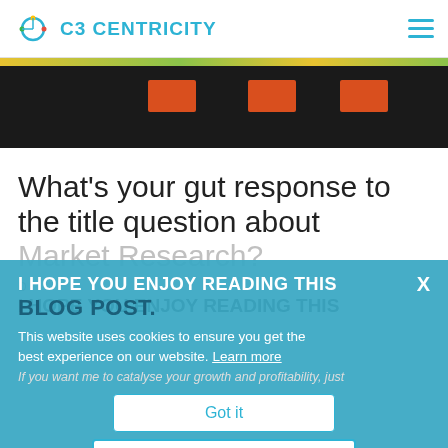C3 CENTRICITY
[Figure (photo): Dark hero image strip with orange rectangular blocks on a dark background]
What's your gut response to the title question about Market Research?
I HOPE YOU ENJOY READING THIS BLOG POST.
If you want me to catalyse your growth and profitability, just
This website uses cookies to ensure you get the best experience on our website. Learn more
Got it
BOOK A CALL